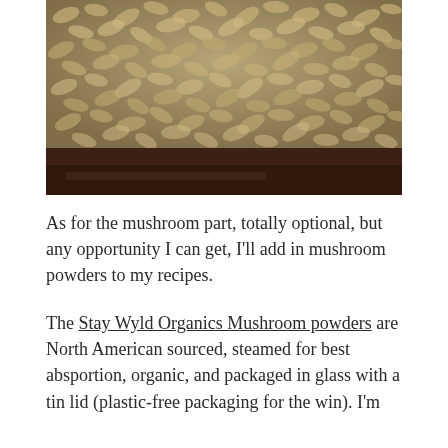[Figure (photo): Close-up photo of rolled oats or grain flakes on a dark baking tray or sheet pan, viewed from above at a slight angle.]
As for the mushroom part, totally optional, but any opportunity I can get, I'll add in mushroom powders to my recipes.
The Stay Wyld Organics Mushroom powders are North American sourced, steamed for best absportion, organic, and packaged in glass with a tin lid (plastic-free packaging for the win). I'm